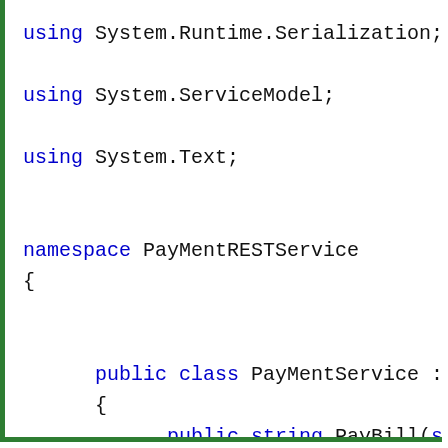[Figure (screenshot): C# source code snippet showing using directives for System.Runtime.Serialization, System.ServiceModel, System.Text, a namespace PayMentRESTService containing a public class PayMentService implementing IPayMen (truncated), with a public string PayBill(string PayI...) method returning a string 'Transaction having Pa...' (truncated). Code is displayed in a monospace font with syntax highlighting: keywords in blue, string literals in red, identifiers in black.]